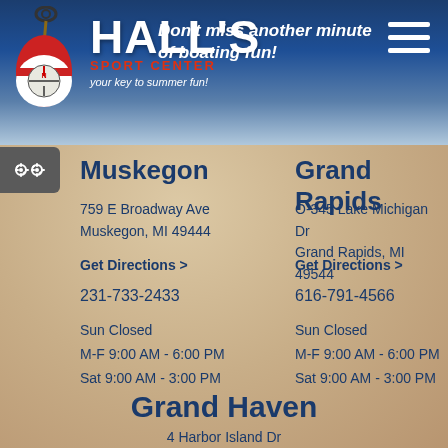[Figure (logo): Hall's Sport Center logo with keychain/buoy image, text 'HALL'S SPORT CENTER your key to summer fun!']
Don't miss another minute of boating fun!
Muskegon
759 E Broadway Ave
Muskegon, MI 49444
Get Directions >
231-733-2433
Sun Closed
M-F 9:00 AM - 6:00 PM
Sat 9:00 AM - 3:00 PM
Grand Rapids
O-345 Lake Michigan Dr
Grand Rapids, MI 49544
Get Directions >
616-791-4566
Sun Closed
M-F 9:00 AM - 6:00 PM
Sat 9:00 AM - 3:00 PM
Grand Haven
4 Harbor Island Dr